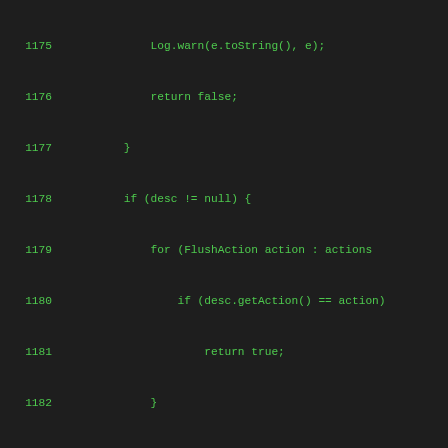[Figure (screenshot): Source code listing in a dark IDE or code viewer. Green monospace text on dark background showing Java code lines 1175–1203, including a method with FlushAction logic, a set() method returning IsFlushWALMarker, and the beginning of a testFlushMarkersWALFail() test method.]